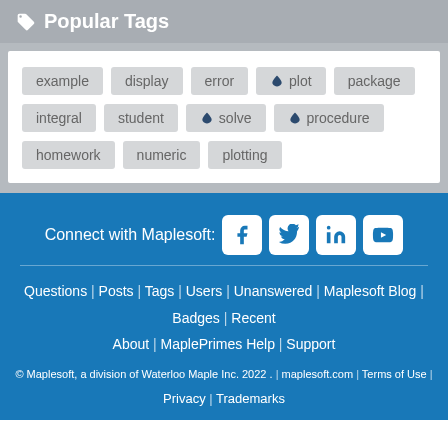Popular Tags
example  display  error  ★ plot  package
integral  student  ★ solve  ★ procedure
homework  numeric  plotting
Connect with Maplesoft: [Facebook] [Twitter] [LinkedIn] [YouTube]
Questions | Posts | Tags | Users | Unanswered | Maplesoft Blog |
Badges | Recent
About | MaplePrimes Help | Support
© Maplesoft, a division of Waterloo Maple Inc. 2022 . | maplesoft.com | Terms of Use | Privacy | Trademarks